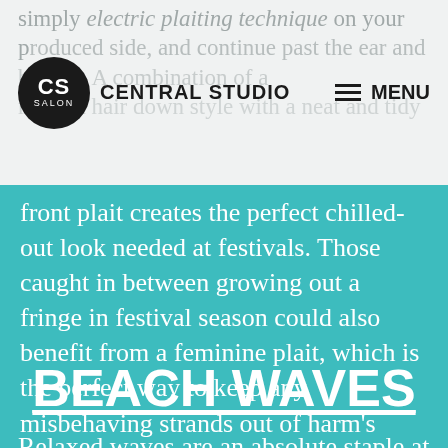CS SALON — CENTRAL STUDIO | MENU
front plait creates the perfect chilled-out look needed at festivals. Those caught in between growing out a fringe in festival season could also benefit from a feminine plait, which is the perfect way to keep any misbehaving strands out of harm's way. This 'do' is effortlessly glam, and will protect vulnerable fringes from the wind and rain.
BEACH WAVES
Relaxed waves are an absolute staple at most